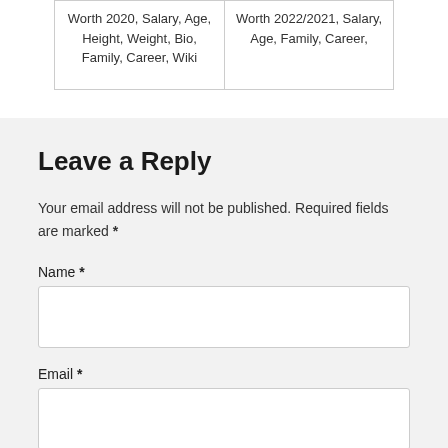Worth 2020, Salary, Age, Height, Weight, Bio, Family, Career, Wiki
Worth 2022/2021, Salary, Age, Family, Career,
Leave a Reply
Your email address will not be published. Required fields are marked *
Name *
Email *